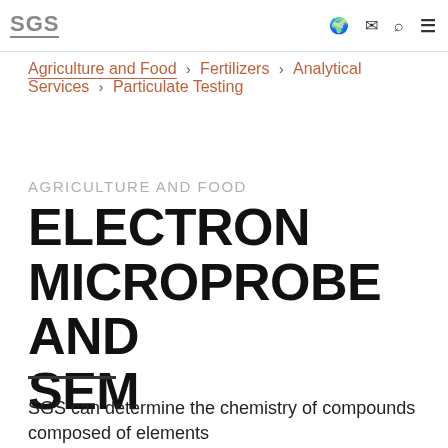SGS | Agriculture and Food › Fertilizers › Analytical Services › Particulate Testing
Agriculture and Food › Fertilizers › Analytical Services › Particulate Testing
AGRICULTURE AND FOOD
ELECTRON MICROPROBE AND SEM
SGS can determine the chemistry of compounds composed of elements